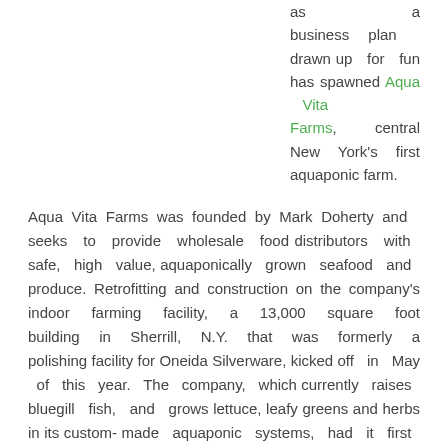as a business plan drawn up for fun has spawned Aqua Vita Farms, central New York's first aquaponic farm.
Aqua Vita Farms was founded by Mark Doherty and seeks to provide wholesale food distributors with safe, high value, aquaponically grown seafood and produce. Retrofitting and construction on the company's indoor farming facility, a 13,000 square foot building in Sherrill, N.Y. that was formerly a polishing facility for Oneida Silverware, kicked off in May of this year. The company, which currently raises bluegill fish, and grows lettuce, leafy greens and herbs in its custom-made aquaponic systems, had it first harvest shortly thereafter in August.